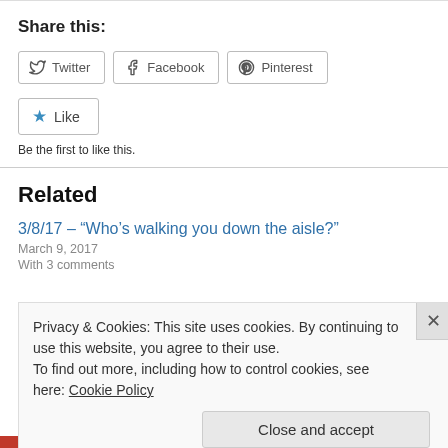Share this:
Twitter  Facebook  Pinterest
Like
Be the first to like this.
Related
3/8/17 – “Who’s walking you down the aisle?”
March 9, 2017
With 3 comments
Privacy & Cookies: This site uses cookies. By continuing to use this website, you agree to their use.
To find out more, including how to control cookies, see here: Cookie Policy
Close and accept